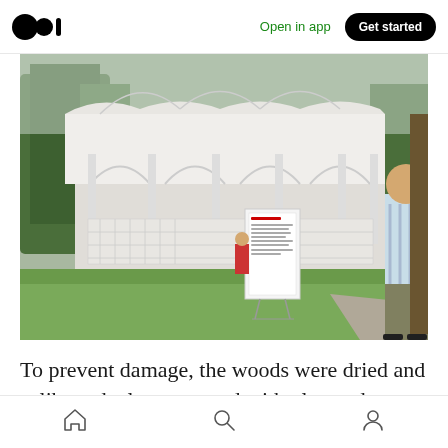Open in app | Get started
[Figure (photo): Outdoor photo of a white ornate pavilion/gazebo structure with arched openings and decorative metalwork. Green grass in foreground, trees in background. A white informational sign/board stands in the middle ground, and a man in a plaid shirt stands on a pathway to the right.]
To prevent damage, the woods were dried and calibrated, also protected with glue and placed
Home | Search | Profile